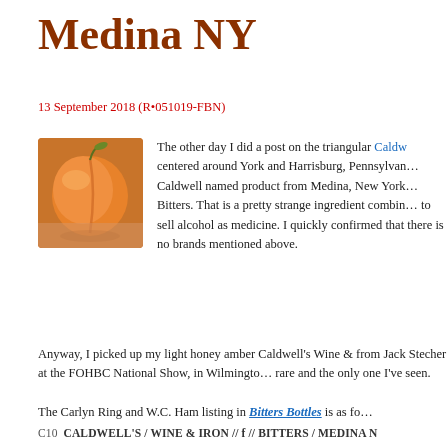Medina NY
13 September 2018 (R•051019-FBN)
[Figure (photo): A peach fruit, orange-red in color, held or resting on a surface, photographed close-up.]
The other day I did a post on the triangular Caldw... centered around York and Harrisburg, Pennsylva... Caldwell named product from Medina, New York... Bitters. That is a pretty strange ingredient combin... to sell alcohol as medicine. I quickly confirmed that there is no... brands mentioned above.
Anyway, I picked up my light honey amber Caldwell's Wine & from Jack Stecher at the FOHBC National Show, in Wilmington rare and the only one I've seen.
The Carlyn Ring and W.C. Ham listing in Bitters Bottles is as fo...
C10  CALDWELL'S / WINE & IRON // f // BITTERS / MEDINA N